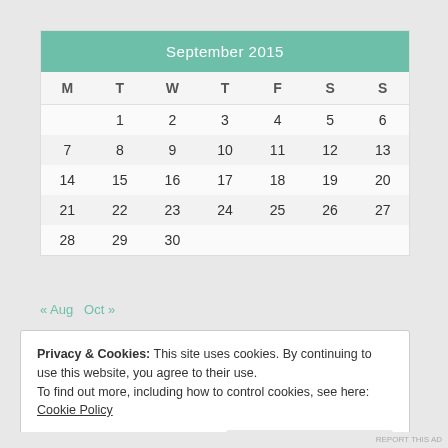| M | T | W | T | F | S | S |
| --- | --- | --- | --- | --- | --- | --- |
|  | 1 | 2 | 3 | 4 | 5 | 6 |
| 7 | 8 | 9 | 10 | 11 | 12 | 13 |
| 14 | 15 | 16 | 17 | 18 | 19 | 20 |
| 21 | 22 | 23 | 24 | 25 | 26 | 27 |
| 28 | 29 | 30 |  |  |  |  |
« Aug   Oct »
Privacy & Cookies: This site uses cookies. By continuing to use this website, you agree to their use.
To find out more, including how to control cookies, see here: Cookie Policy
Close and accept